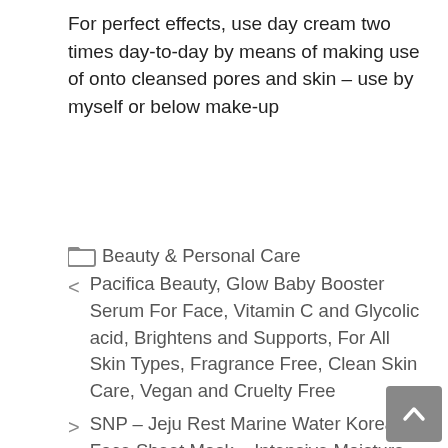For perfect effects, use day cream two times day-to-day by means of making use of onto cleansed pores and skin – use by myself or below make-up
Beauty & Personal Care
Pacifica Beauty, Glow Baby Booster Serum For Face, Vitamin C and Glycolic acid, Brightens and Supports, For All Skin Types, Fragrance Free, Clean Skin Care, Vegan and Cruelty Free
SNP – Jeju Rest Marine Water Korean Face Sheet Mask – Intensive Moisture for Extremely Dry & Sensitive Skin – 10 Sheets Beauty Facial Masks Skincare for Women and Men